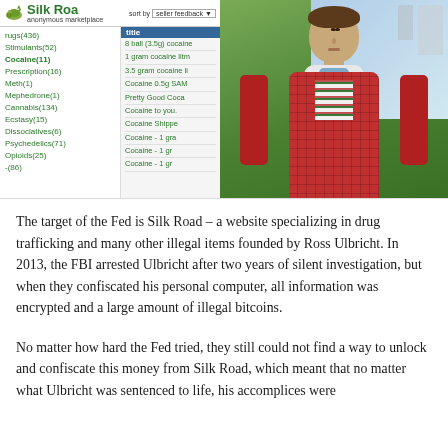[Figure (photo): Left side shows a screenshot of the Silk Road anonymous marketplace website listing drug categories including Cocaine(11), Cannabis(134), Psychedelics(71), and others with cocaine product listings. Right side shows a photo of a young man (Ross Ulbricht) in a red plaid jacket outdoors.]
The target of the Fed is Silk Road – a website specializing in drug trafficking and many other illegal items founded by Ross Ulbricht. In 2013, the FBI arrested Ulbricht after two years of silent investigation, but when they confiscated his personal computer, all information was encrypted and a large amount of illegal bitcoins.
No matter how hard the Fed tried, they still could not find a way to unlock and confiscate this money from Silk Road, which meant that no matter what Ulbricht was sentenced to life, his accomplices were